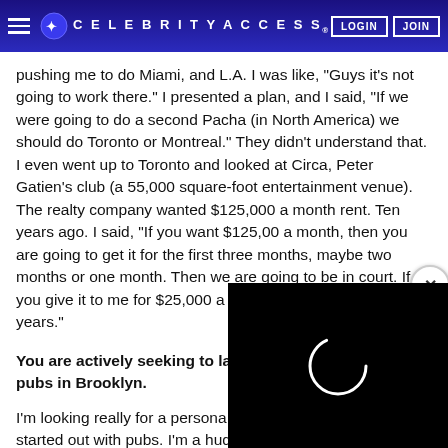CELEBRITYACCESS. LOGIN JOIN
pushing me to do Miami, and L.A. I was like, “Guys it’s not going to work there.” I presented a plan, and I said, “If we were going to do a second Pacha (in North America) we should do Toronto or Montreal.” They didn’t understand that. I even went up to Toronto and looked at Circa, Peter Gatien’s club (a 55,000 square-foot entertainment venue). The realty company wanted $125,000 a month rent. Ten years ago. I said, “If you want $125,00 a month, then you are going to get it for the first three months, maybe two months or one month. Then we are going to be in court. If you give it to me for $25,000 a month, I’ll be here for 20 years.”
You are actively seeking to lau pubs in Brooklyn.
I’m looking really for a persona started out with pubs. I’m a hud